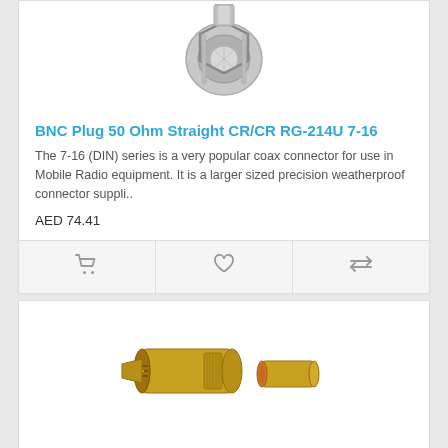[Figure (photo): Silver/chrome BNC plug connector, top portion visible from above]
BNC Plug 50 Ohm Straight CR/CR RG-214U 7-16
The 7-16 (DIN) series is a very popular coax connector for use in Mobile Radio equipment. It is a larger sized precision weatherproof connector suppli..
AED 74.41
[Figure (photo): Two gold-colored brass connector pieces: a crimped BNC plug body and a cylindrical ferrule/sleeve]